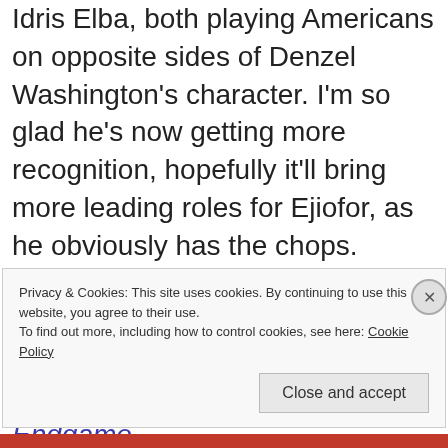Idris Elba, both playing Americans on opposite sides of Denzel Washington's character. I'm so glad he's now getting more recognition, hopefully it'll bring more leading roles for Ejiofor, as he obviously has the chops. Interesting that both him and Elba has also played leading roles in Mandela-related films, Ejiofor was the lead in this dramatic gem Endgame.
Privacy & Cookies: This site uses cookies. By continuing to use this website, you agree to their use. To find out more, including how to control cookies, see here: Cookie Policy